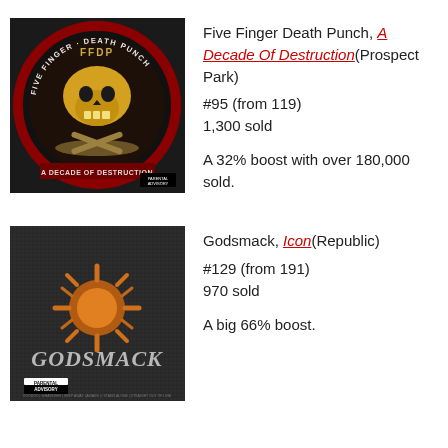[Figure (photo): Album cover for Five Finger Death Punch - A Decade Of Destruction. Dark background with gold skull logo and band name in circular emblem, red and gold design with 'A Decade Of Destruction' text at bottom.]
Five Finger Death Punch, A Decade Of Destruction(Prospect Park)
#95 (from 119)
1,300 sold

A 32% boost with over 180,000 sold.
[Figure (photo): Album cover for Godsmack - Icon. Dark grey textured background with orange Godsmack sun logo and band name 'GODSMACK' in stylized font. Parental Advisory sticker and track listing at bottom.]
Godsmack, Icon(Republic)
#129 (from 191)
970 sold

A big 66% boost.